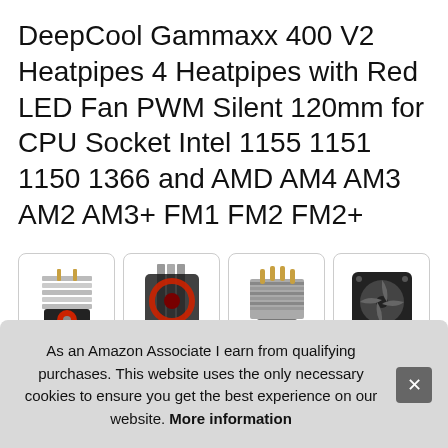DeepCool Gammaxx 400 V2 Heatpipes 4 Heatpipes with Red LED Fan PWM Silent 120mm for CPU Socket Intel 1155 1151 1150 1366 and AMD AM4 AM3 AM2 AM3+ FM1 FM2 FM2+
[Figure (photo): Four product images of the DeepCool Gammaxx 400 V2 CPU cooler from different angles: side view with red LED fan, front view with red LED ring fan, top view showing heatpipes and fins, and side view without fan.]
DeepCool Gammaxx 400 V2 heatsink/fan assembly heat pipes heatsink sink
As an Amazon Associate I earn from qualifying purchases. This website uses the only necessary cookies to ensure you get the best experience on our website. More information